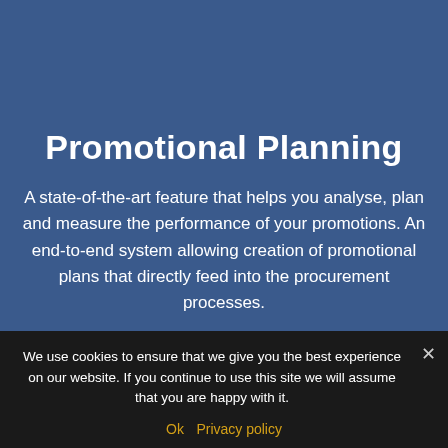Promotional Planning
A state-of-the-art feature that helps you analyse, plan and measure the performance of your promotions. An end-to-end system allowing creation of promotional plans that directly feed into the procurement processes.
We use cookies to ensure that we give you the best experience on our website. If you continue to use this site we will assume that you are happy with it.
Ok   Privacy policy